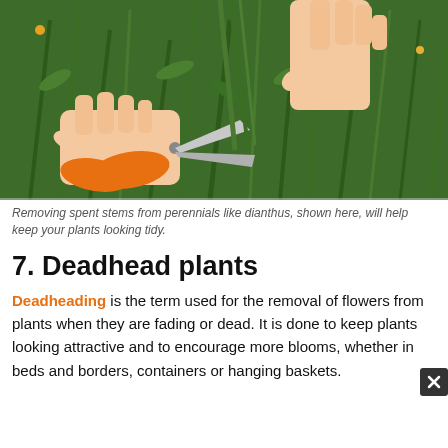[Figure (photo): Close-up photo of two hands using orange-handled scissors to cut stems of a green plant (dianthus), with garden greenery in the background.]
Removing spent stems from perennials like dianthus, shown here, will help keep your plants looking tidy.
7. Deadhead plants
Deadheading is the term used for the removal of flowers from plants when they are fading or dead. It is done to keep plants looking attractive and to encourage more blooms, whether in beds and borders, containers or hanging baskets.